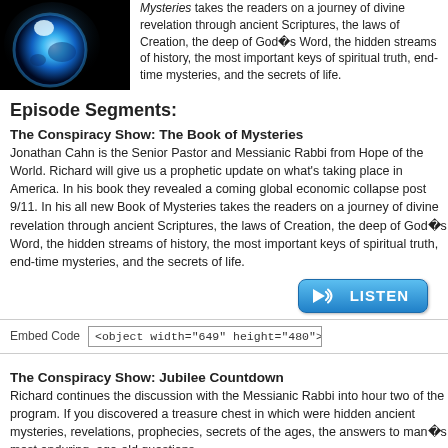[Figure (photo): Glowing blue Earth from space against black background]
Mysteries takes the readers on a journey of divine revelation through ancient Scriptures, the laws of Creation, the deep of God’s Word, the hidden streams of history, the most important keys of spiritual truth, end-time mysteries, and the secrets of life.
Episode Segments:
The Conspiracy Show: The Book of Mysteries
Jonathan Cahn is the Senior Pastor and Messianic Rabbi from Hope of the World. Richard will give us a prophetic update on what’s taking place in America. In his book they revealed a coming global economic collapse post 9/11. In his all new Book of Mysteries takes the readers on a journey of divine revelation through ancient Scriptures, the laws of Creation, the deep of God’s Word, the hidden streams of history, the most important keys of spiritual truth, end-time mysteries, and the secrets of life.
[Figure (other): LISTEN button in blue gradient]
Embed Code  <object width="649" height="480"><param name="mov
The Conspiracy Show: Jubilee Countdown
Richard continues the discussion with the Messianic Rabbi into hour two of the program. If you discovered a treasure chest in which were hidden ancient mysteries, revelations, prophecies, secrets of the ages, the answers to man’s most enduring, age-old questions...